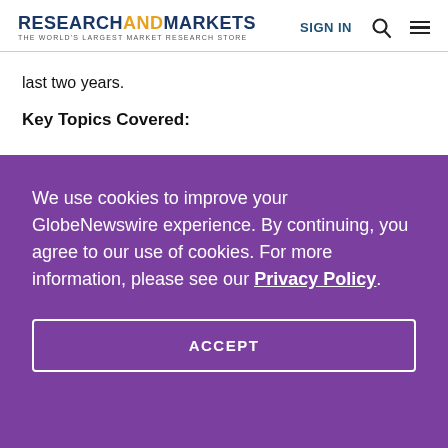RESEARCHANDMARKETS THE WORLD'S LARGEST MARKET RESEARCH STORE | SIGN IN
last two years.
Key Topics Covered:
We use cookies to improve your GlobeNewswire experience. By continuing, you agree to our use of cookies. For more information, please see our Privacy Policy.
ACCEPT